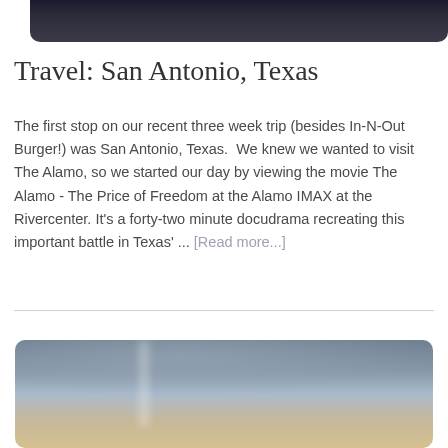[Figure (photo): Partial top of a photo showing people, dark background, bottom portion visible]
Travel: San Antonio, Texas
The first stop on our recent three week trip (besides In-N-Out Burger!) was San Antonio, Texas.  We knew we wanted to visit The Alamo, so we started our day by viewing the movie The Alamo - The Price of Freedom at the Alamo IMAX at the Rivercenter. It's a forty-two minute docudrama recreating this important battle in Texas' ... [Read more...]
[Figure (photo): Sky photo with light pillar or sun dog effect, clouds, warm horizon colors]